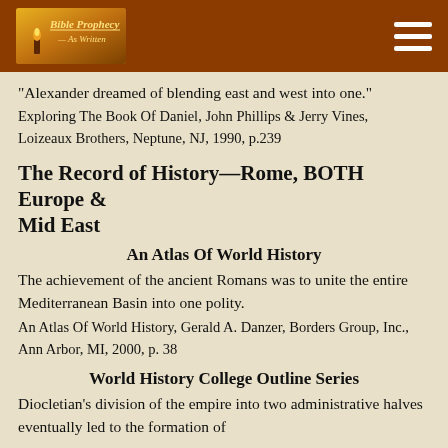Bible Prophecy As Written
“Alexander dreamed of blending east and west into one.”
Exploring The Book Of Daniel, John Phillips & Jerry Vines, Loizeaux Brothers, Neptune, NJ, 1990, p.239
The Record of History—Rome, BOTH Europe & Mid East
An Atlas Of World History
The achievement of the ancient Romans was to unite the entire Mediterranean Basin into one polity.
An Atlas Of World History, Gerald A. Danzer, Borders Group, Inc., Ann Arbor, MI, 2000, p. 38
World History College Outline Series
Diocletian’s division of the empire into two administrative halves eventually led to the formation of